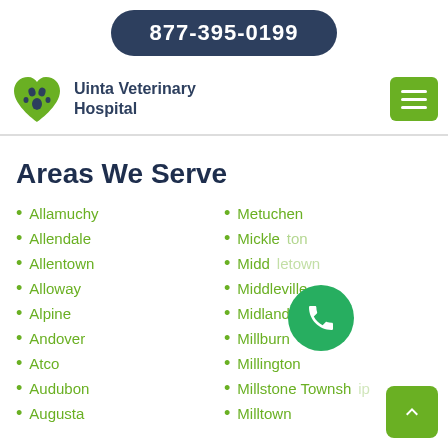877-395-0199
[Figure (logo): Uinta Veterinary Hospital logo with green paw print heart icon and hamburger menu button]
Areas We Serve
Allamuchy
Allendale
Allentown
Alloway
Alpine
Andover
Atco
Audubon
Augusta
Metuchen
Mickleton
Middletown
Middleville
Midland Park
Millburn
Millington
Millstone Township
Milltown